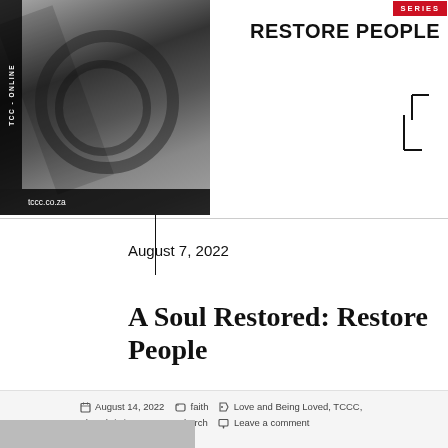[Figure (photo): Black and white photo with vertical TCC - ONLINE text on left side and tccc.co.za label at bottom]
SERIES
RESTORE PEOPLE
August 7, 2022
A Soul Restored: Restore People
August 14, 2022   faith   Love and Being Loved, TCCC, The Christian Campus Church   Leave a comment